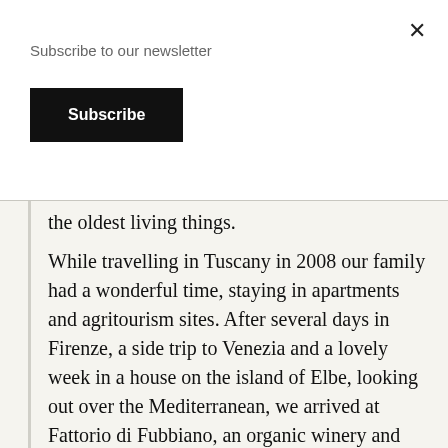Subscribe to our newsletter
Subscribe
the oldest living things.
While travelling in Tuscany in 2008 our family had a wonderful time, staying in apartments and agritourism sites. After several days in Firenze, a side trip to Venezia and a lovely week in a house on the island of Elbe, looking out over the Mediterranean, we arrived at Fattorio di Fubbiano, an organic winery and olive oil plantation in the hills east of Lucca.